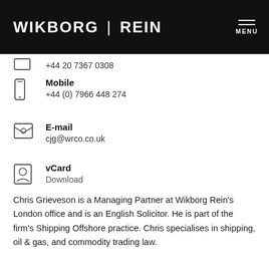WIKBORG | REIN
+44 20 7367 0308
Mobile
+44 (0) 7966 448 274
E-mail
cjg@wrco.co.uk
vCard
Download
Chris Grieveson is a Managing Partner at Wikborg Rein's London office and is an English Solicitor. He is part of the firm's Shipping Offshore practice. Chris specialises in shipping, oil & gas, and commodity trading law.